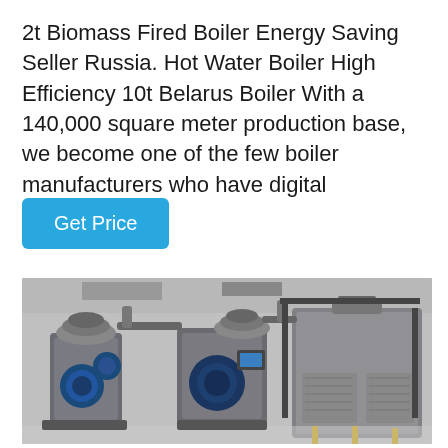2t Biomass Fired Boiler Energy Saving Seller Russia. Hot Water Boiler High Efficiency 10t Belarus Boiler With a 140,000 square meter production base, we become one of the few boiler manufacturers who have digital production...
Get Price
[Figure (photo): Industrial boiler room showing multiple large biomass fired boilers with blue circular burners, pipes and fittings, arranged in a row inside a factory facility.]